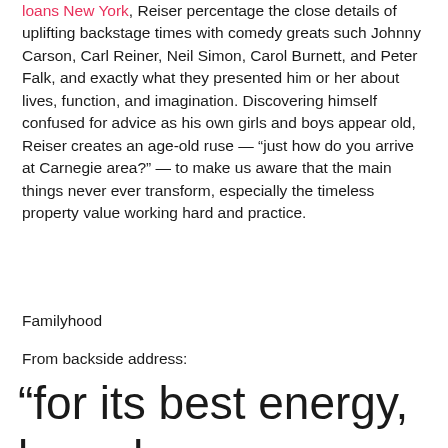loans New York, Reiser percentage the close details of uplifting backstage times with comedy greats such Johnny Carson, Carl Reiner, Neil Simon, Carol Burnett, and Peter Falk, and exactly what they presented him or her about lives, function, and imagination. Discovering himself confused for advice as his own girls and boys appear old, Reiser creates an age-old ruse — “just how do you arrive at Carnegie area?” — to make us aware that the main things never ever transform, especially the timeless property value working hard and practice.
Familyhood
From backside address:
“for its best energy, based upon no evidence aside from our own anxiety and sense of